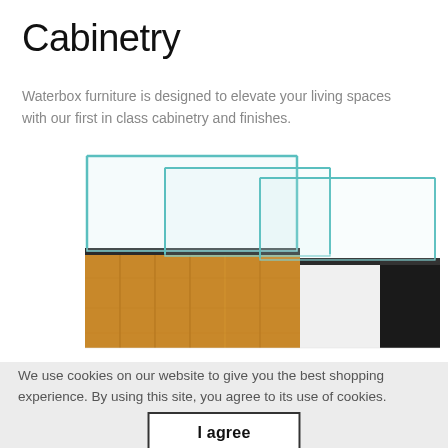Cabinetry
Waterbox furniture is designed to elevate your living spaces with our first in class cabinetry and finishes.
[Figure (photo): Three glass aquarium tanks of varying sizes displayed on cabinetry stands showing three different finishes: natural wood grain (left), white (center), and black (right).]
We use cookies on our website to give you the best shopping experience. By using this site, you agree to its use of cookies.
I agree